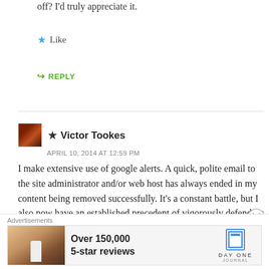off? I'd truly appreciate it.
★ Like
➥ REPLY
★ Victor Tookes
APRIL 10, 2014 AT 12:59 PM
I make extensive use of google alerts. A quick, polite email to the site administrator and/or web host has always ended in my content being removed successfully. It's a constant battle, but I also now have an established precedent of vigorously defending my copyrights and intellectual property.
Advertisements
Over 150,000
5-star reviews
DAY ONE
JOURNAL